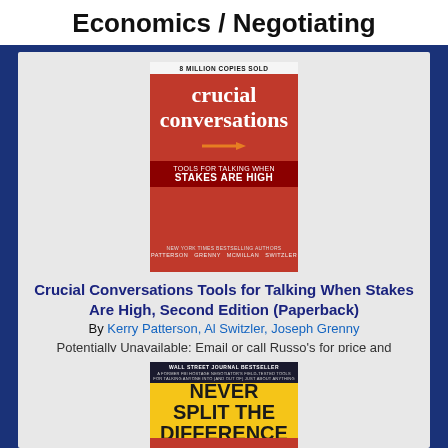Economics / Negotiating
[Figure (photo): Book cover of 'Crucial Conversations: Tools for Talking When Stakes Are High, Second Edition' with red background]
Crucial Conversations Tools for Talking When Stakes Are High, Second Edition (Paperback)
By Kerry Patterson, Al Switzler, Joseph Grenny
Potentially Unavailable: Email or call Russo's for price and availability
Out of Print
[Figure (photo): Book cover of 'Never Split the Difference' with yellow background and bold black text]